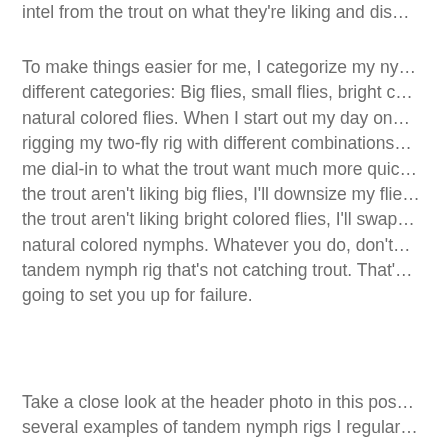intel from the trout on what they're liking and dis...
To make things easier for me, I categorize my ny... different categories: Big flies, small flies, bright c... natural colored flies. When I start out my day on... rigging my two-fly rig with different combinations... me dial-in to what the trout want much more quic... the trout aren't liking big flies, I'll downsize my flie... the trout aren't liking bright colored flies, I'll swap... natural colored nymphs. Whatever you do, don't... tandem nymph rig that's not catching trout. That'... going to set you up for failure.
Take a close look at the header photo in this pos... several examples of tandem nymph rigs I regular...